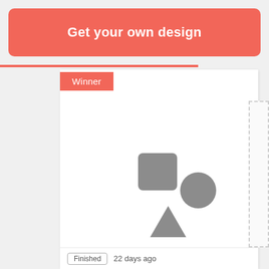Get your own design
Winner
[Figure (illustration): Placeholder image with grey geometric shapes: a rounded square, a triangle, and a circle arranged together]
Finished  22 days ago